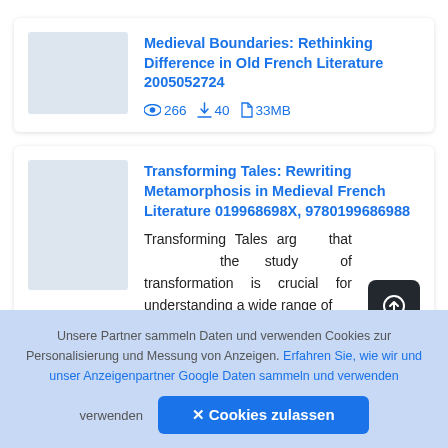Medieval Boundaries: Rethinking Difference in Old French Literature 2005052724
266 views  40 downloads  33MB
Transforming Tales: Rewriting Metamorphosis in Medieval French Literature 019968698X, 9780199686988
Transforming Tales argues that the study of transformation is crucial for understanding a wide range of
Unsere Partner sammeln Daten und verwenden Cookies zur Personalisierung und Messung von Anzeigen. Erfahren Sie, wie wir und unser Anzeigenpartner Google Daten sammeln und verwenden
✕ Cookies zulassen